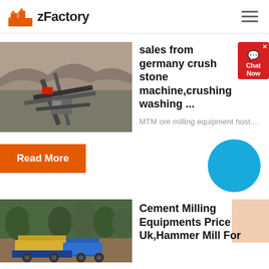zFactory
[Figure (photo): Outdoor mining/crushing plant with conveyors and rocky cliff face in background]
sales from germany crush stone machine,crushing washing ...
MTM ore milling equipment host...
Read More
[Figure (photo): Outdoor mobile crushing/milling equipment with yellow machinery in green forested area]
Cement Milling Equipments Price Uk,Hammer Mill For